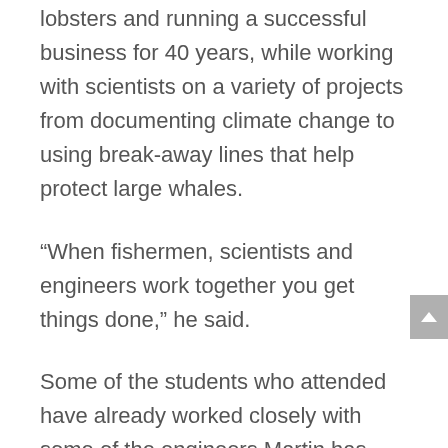lobsters and running a successful business for 40 years, while working with scientists on a variety of projects from documenting climate change to using break-away lines that help protect large whales.
“When fishermen, scientists and engineers work together you get things done,” he said.
Some of the students who attended have already worked closely with some of the engineers Martin has partnered with as well.